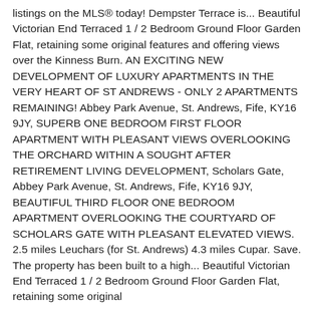listings on the MLS® today! Dempster Terrace is... Beautiful Victorian End Terraced 1 / 2 Bedroom Ground Floor Garden Flat, retaining some original features and offering views over the Kinness Burn. AN EXCITING NEW DEVELOPMENT OF LUXURY APARTMENTS IN THE VERY HEART OF ST ANDREWS - ONLY 2 APARTMENTS REMAINING! Abbey Park Avenue, St. Andrews, Fife, KY16 9JY, SUPERB ONE BEDROOM FIRST FLOOR APARTMENT WITH PLEASANT VIEWS OVERLOOKING THE ORCHARD WITHIN A SOUGHT AFTER RETIREMENT LIVING DEVELOPMENT, Scholars Gate, Abbey Park Avenue, St. Andrews, Fife, KY16 9JY, BEAUTIFUL THIRD FLOOR ONE BEDROOM APARTMENT OVERLOOKING THE COURTYARD OF SCHOLARS GATE WITH PLEASANT ELEVATED VIEWS. 2.5 miles Leuchars (for St. Andrews) 4.3 miles Cupar. Save. The property has been built to a high... Beautiful Victorian End Terraced 1 / 2 Bedroom Ground Floor Garden Flat, retaining some original